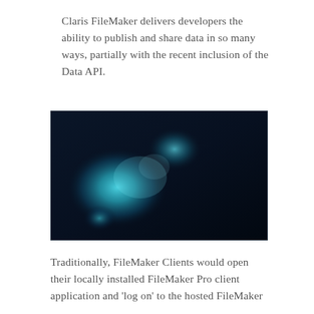Claris FileMaker delivers developers the ability to publish and share data in so many ways, partially with the recent inclusion of the Data API.
[Figure (photo): Dark background image with glowing cyan/teal abstract light shapes, resembling a digital network or data visualization concept.]
Traditionally, FileMaker Clients would open their locally installed FileMaker Pro client application and 'log on' to the hosted FileMaker